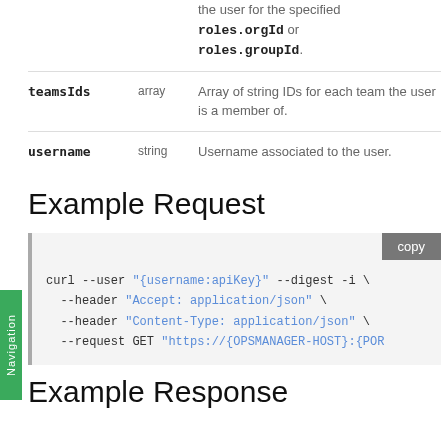| Field | Type | Description |
| --- | --- | --- |
|  |  | the user for the specified roles.orgId or roles.groupId. |
| teamsIds | array | Array of string IDs for each team the user is a member of. |
| username | string | Username associated to the user. |
Example Request
[Figure (screenshot): Code block showing curl command: curl --user "{username:apiKey}" --digest -i \ --header "Accept: application/json" \ --header "Content-Type: application/json" \ --request GET "https://{OPSMANAGER-HOST}:{POR]
Example Response